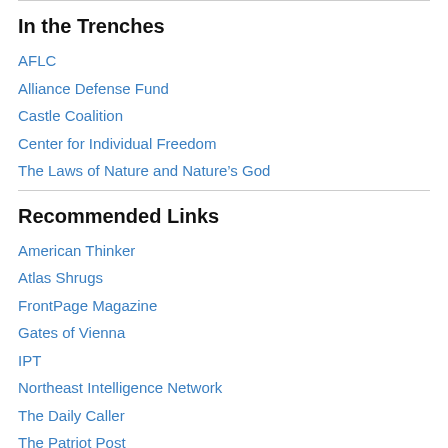In the Trenches
AFLC
Alliance Defense Fund
Castle Coalition
Center for Individual Freedom
The Laws of Nature and Nature’s God
Recommended Links
American Thinker
Atlas Shrugs
FrontPage Magazine
Gates of Vienna
IPT
Northeast Intelligence Network
The Daily Caller
The Patriot Post